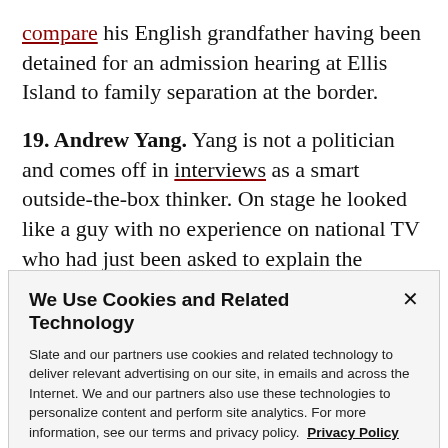compare his English grandfather having been detained for an admission hearing at Ellis Island to family separation at the border.
19. Andrew Yang. Yang is not a politician and comes off in interviews as a smart outside-the-box thinker. On stage he looked like a guy with no experience on national TV who had just been asked to explain the concept of value-added taxes, automation-driven
We Use Cookies and Related Technology
Slate and our partners use cookies and related technology to deliver relevant advertising on our site, in emails and across the Internet. We and our partners also use these technologies to personalize content and perform site analytics. For more information, see our terms and privacy policy. Privacy Policy
OK